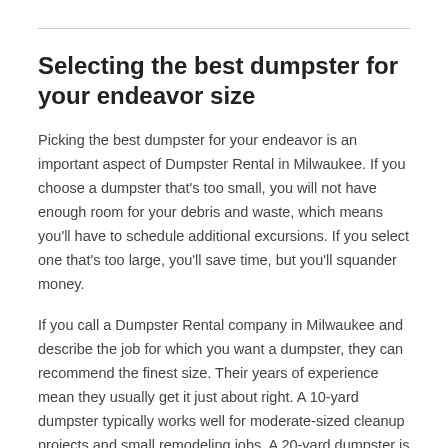Selecting the best dumpster for your endeavor size
Picking the best dumpster for your endeavor is an important aspect of Dumpster Rental in Milwaukee. If you choose a dumpster that's too small, you will not have enough room for your debris and waste, which means you'll have to schedule additional excursions. If you select one that's too large, you'll save time, but you'll squander money.
If you call a Dumpster Rental company in Milwaukee and describe the job for which you want a dumpster, they can recommend the finest size. Their years of experience mean they usually get it just about right. A 10-yard dumpster typically works well for moderate-sized cleanup projects and small remodeling jobs. A 20-yard dumpster is the best option for large dwelling cleanup projects